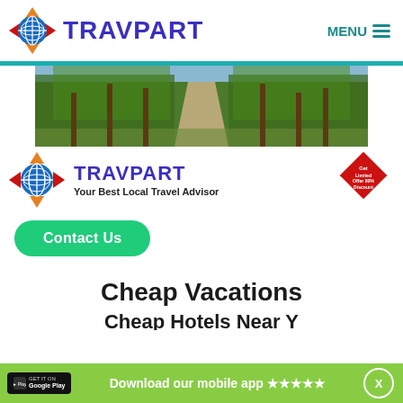TRAVPART — MENU
[Figure (photo): Banner photo of a tropical tree-lined pathway in Bali with lush greenery on both sides]
[Figure (logo): TRAVPART logo with globe icon and tagline 'Your Best Local Travel Advisor', plus a red diamond badge reading 'Get Limited Offer 80% Discount']
Contact Us
Cheap Vacations
Download our mobile app ★★★★★  X